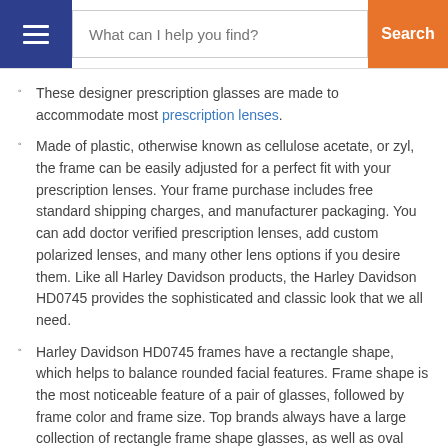What can I help you find? [Search]
These designer prescription glasses are made to accommodate most prescription lenses.
Made of plastic, otherwise known as cellulose acetate, or zyl, the frame can be easily adjusted for a perfect fit with your prescription lenses. Your frame purchase includes free standard shipping charges, and manufacturer packaging. You can add doctor verified prescription lenses, add custom polarized lenses, and many other lens options if you desire them. Like all Harley Davidson products, the Harley Davidson HD0745 provides the sophisticated and classic look that we all need.
Harley Davidson HD0745 frames have a rectangle shape, which helps to balance rounded facial features. Frame shape is the most noticeable feature of a pair of glasses, followed by frame color and frame size. Top brands always have a large collection of rectangle frame shape glasses, as well as oval frame shape glasses.
Harley Davidson HD0745 frames feature fashionable f...